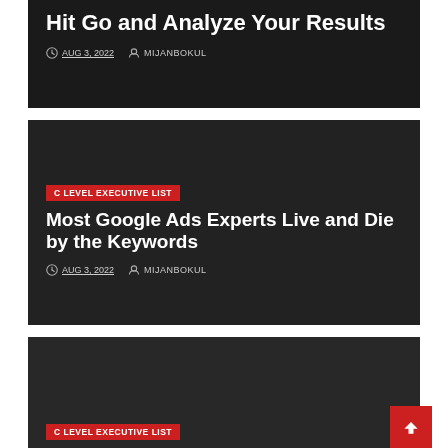Hit Go and Analyze Your Results
AUG 3, 2022  MIJANBOKUL
C LEVEL EXECUTIVE LIST
Most Google Ads Experts Live and Die by the Keywords
AUG 3, 2022  MIJANBOKUL
C LEVEL EXECUTIVE LIST